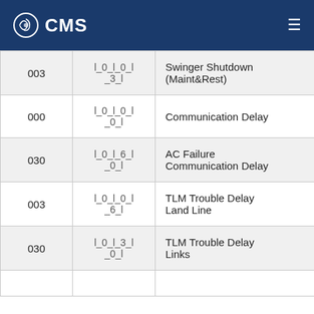CMS
| Default | Location | Description | Range |
| --- | --- | --- | --- |
| 003 | l_0_l_0_l_3_l | Swinger Shutdown (Maint&Rest) | (001-014 Tr... 000=disable... |
| 000 | l_0_l_0_l_0_l | Communication Delay | (001-255 se... |
| 030 | l_0_l_6_l_0_l | AC Failure Communication Delay | (001-255 mi... |
| 003 | l_0_l_0_l_6_l | TLM Trouble Delay Land Line | (000-255 x 1 seconds) |
| 030 | l_0_l_3_l_0_l | TLM Trouble Delay Links | 5 x 1 seconds) |
|  |  |  |  |